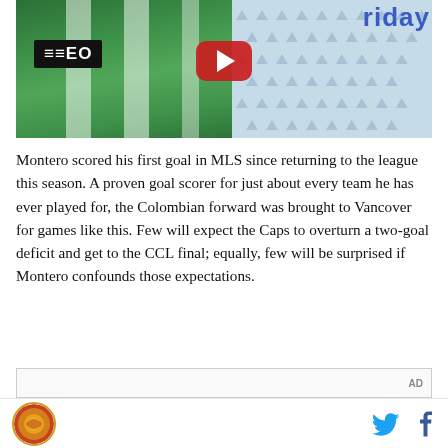[Figure (photo): Soccer player in green and white Sporting CP jersey with MEO sponsor, arms outstretched celebrating a goal, YouTube play button overlay visible, partial text 'riday' in upper right corner on blue background]
Montero scored his first goal in MLS since returning to the league this season. A proven goal scorer for just about every team he has ever played for, the Colombian forward was brought to Vancover for games like this. Few will expect the Caps to overturn a two-goal deficit and get to the CCL final; equally, few will be surprised if Montero confounds those expectations.
[Figure (other): AD advertisement placeholder box]
Site logo on left, Twitter and Facebook social share icons on right